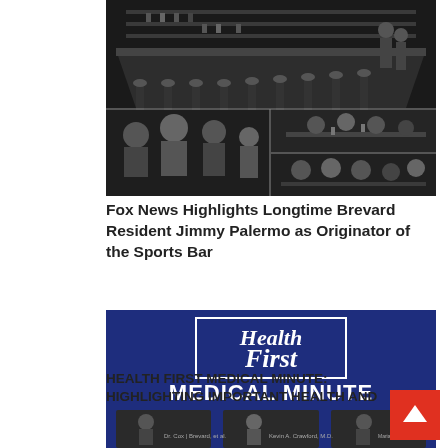[Figure (photo): Black and white photo collage showing a bar scene: top image shows a long bar counter with stools and patrons, bottom left shows a group of men socializing, bottom right top shows men at a bar, bottom right bottom shows a group seated around a table.]
Fox News Highlights Longtime Brevard Resident Jimmy Palermo as Originator of the Sports Bar
[Figure (photo): Health First Medical Minute banner image with blue background showing the Health First logo and 'MEDICAL MINUTE' text, with three video thumbnails of medical professionals below.]
HEALTH FIRST MEDICAL MINUTE: Highlighting Important Health and